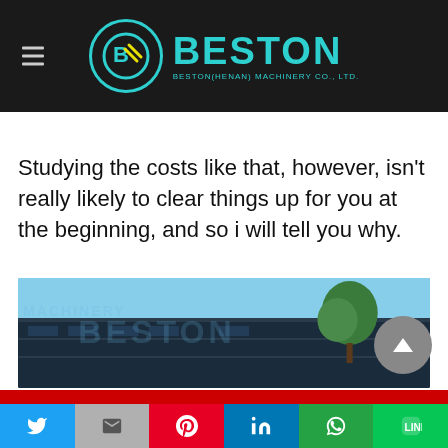BESTON - BESTON(HENAN) MACHINERY CO., LTD.
Studying the costs like that, however, isn't really likely to clear things up for you at the beginning, and so i will tell you why.
[Figure (photo): Exterior photo of Beston machinery factory building with blue facade and tree, with BESTON watermark overlay]
[Figure (other): Social sharing bar with icons: Twitter, Gmail/Email, Pinterest, LinkedIn, WhatsApp, LINE]